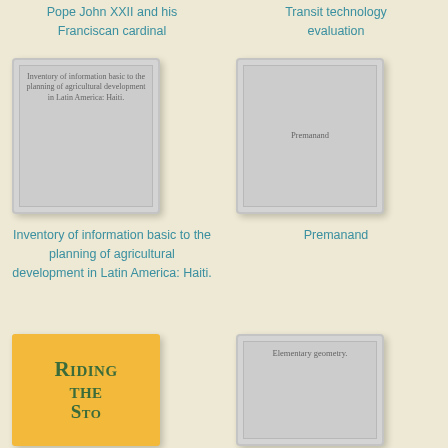Pope John XXII and his Franciscan cardinal
Transit technology evaluation
[Figure (illustration): Book cover placeholder: Inventory of information basic to the planning of agricultural development in Latin America: Haiti.]
[Figure (illustration): Book cover placeholder: Premanand]
Inventory of information basic to the planning of agricultural development in Latin America: Haiti.
Premanand
[Figure (illustration): Book cover: Riding The Storm — yellow cover with green serif title text]
[Figure (illustration): Book cover placeholder: Elementary geometry.]